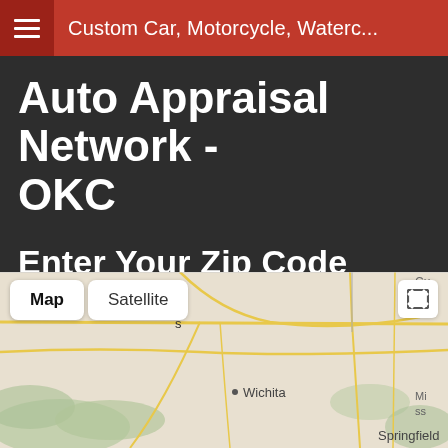Custom Car, Motorcycle, Waterc...
Auto Appraisal Network - OKC
Enter Your Zip Code
[Figure (screenshot): Zip code search bar with black input field and red Search button]
[Figure (map): Google Maps showing central US region with Wichita and Springfield visible, with Map/Satellite toggle buttons and fullscreen button]